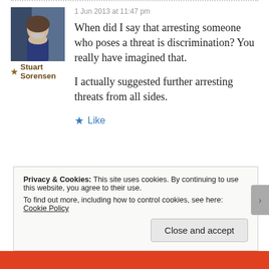1 Jun 2013 at 11:47 pm
[Figure (photo): Profile photo of a middle-aged man with grey beard wearing a dark blue shirt, against a dark background]
★ Stuart Sorensen
When did I say that arresting someone who poses a threat is discrimination? You really have imagined that.

I actually suggested further arresting threats from all sides.
★ Like
Privacy & Cookies: This site uses cookies. By continuing to use this website, you agree to their use. To find out more, including how to control cookies, see here: Cookie Policy
Close and accept